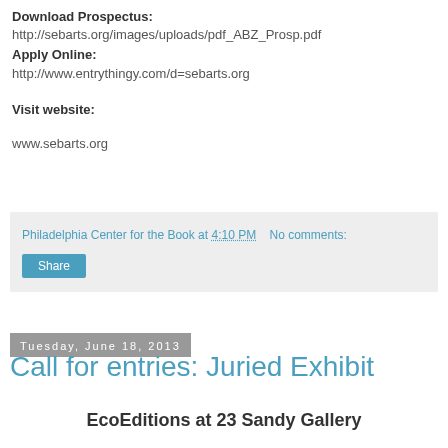Download Prospectus: http://sebarts.org/images/uploads/pdf_ABZ_Prosp.pdf Apply Online: http://www.entrythingy.com/d=sebarts.org
Visit website:

www.sebarts.org
Philadelphia Center for the Book at 4:10 PM   No comments:
Share
Tuesday, June 18, 2013
Call for entries: Juried Exhibit
EcoEditions at 23 Sandy Gallery